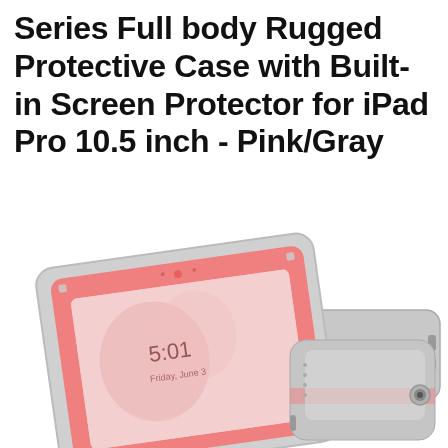Series Full body Rugged Protective Case with Built-in Screen Protector for iPad Pro 10.5 inch - Pink/Gray
[Figure (photo): Product photo of a pink and gray rugged full-body protective iPad case with built-in screen protector, shown at a slight angle with the iPad screen visible inside, displaying a pink lock screen. The case has a gray outer frame and pink inner bezel.]